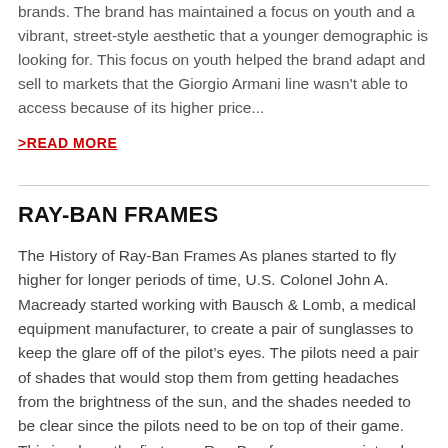brands. The brand has maintained a focus on youth and a vibrant, street-style aesthetic that a younger demographic is looking for. This focus on youth helped the brand adapt and sell to markets that the Giorgio Armani line wasn't able to access because of its higher price...
>READ MORE
RAY-BAN FRAMES
The History of Ray-Ban Frames As planes started to fly higher for longer periods of time, U.S. Colonel John A. Macready started working with Bausch & Lomb, a medical equipment manufacturer, to create a pair of sunglasses to keep the glare off of the pilot's eyes. The pilots need a pair of shades that would stop them from getting headaches from the brightness of the sun, and the shades needed to be clear since the pilots need to be on top of their game. This is where the first-ever Ray-Ban frames came into play. During the Second World War, pilots began to rely on Ray-Ban sunglasses to protect their eyes, and